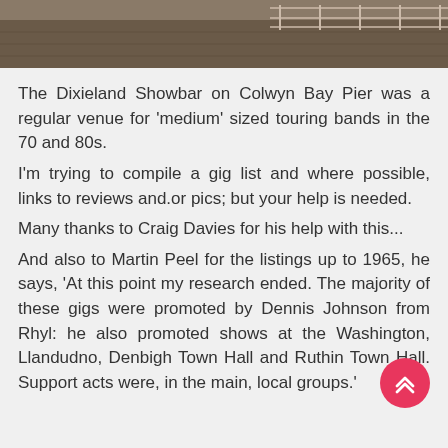[Figure (photo): Top portion of a photo showing what appears to be a pier or boardwalk with railings, partially cropped at top of page]
The Dixieland Showbar on Colwyn Bay Pier was a regular venue for 'medium' sized touring bands in the 70 and 80s.
I'm trying to compile a gig list and where possible, links to reviews and.or pics; but your help is needed.
Many thanks to Craig Davies for his help with this...
And also to Martin Peel for the listings up to 1965, he says, 'At this point my research ended. The majority of these gigs were promoted by Dennis Johnson from Rhyl: he also promoted shows at the Washington, Llandudno, Denbigh Town Hall and Ruthin Town Hall. Support acts were, in the main, local groups.'